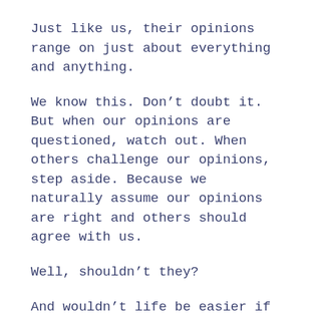Just like us, their opinions range on just about everything and anything.
We know this. Don’t doubt it. But when our opinions are questioned, watch out. When others challenge our opinions, step aside. Because we naturally assume our opinions are right and others should agree with us.
Well, shouldn’t they?
And wouldn’t life be easier if they did?
But they don’t. Everyone has freedom to hold their own opinions. And that, dear friend, is the rub. And what we often consider the problem. But